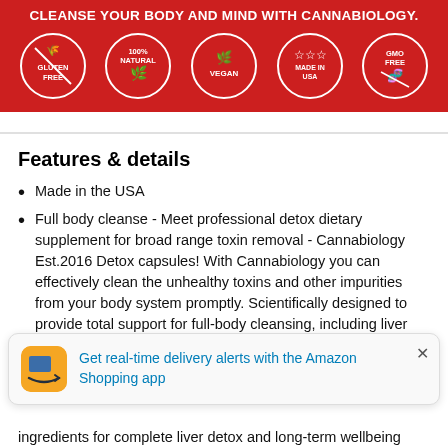[Figure (infographic): Red banner with text 'CLEANSE YOUR BODY AND MIND WITH CANNABIOLOGY.' and five circular badge icons: Gluten Free, 100% Natural, Vegan, Made in USA, GMO Free]
Features & details
Made in the USA
Full body cleanse - Meet professional detox dietary supplement for broad range toxin removal - Cannabiology Est.2016 Detox capsules! With Cannabiology you can effectively clean the unhealthy toxins and other impurities from your body system promptly. Scientifically designed to provide total support for full-body cleansing, including liver detox. Get the best and live free!
[Figure (infographic): Amazon Shopping app popup notification: 'Get real-time delivery alerts with the Amazon Shopping app' with Amazon icon and close button]
ingredients for complete liver detox and long-term wellbeing